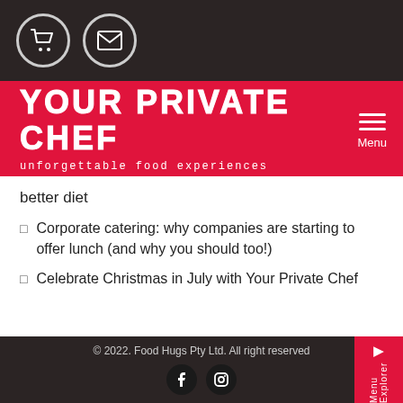YOUR PRIVATE CHEF — unforgettable food experiences
better diet
Corporate catering: why companies are starting to offer lunch (and why you should too!)
Celebrate Christmas in July with Your Private Chef
© 2022. Food Hugs Pty Ltd. All right reserved